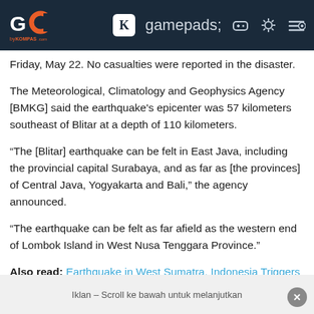GO by KOMPAS.com — navigation header with icons
Friday, May 22. No casualties were reported in the disaster.
The Meteorological, Climatology and Geophysics Agency [BMKG] said the earthquake's epicenter was 57 kilometers southeast of Blitar at a depth of 110 kilometers.
“The [Blitar] earthquake can be felt in East Java, including the provincial capital Surabaya, and as far as [the provinces] of Central Java, Yogyakarta and Bali,” the agency announced.
“The earthquake can be felt as far afield as the western end of Lombok Island in West Nusa Tenggara Province.”
Also read: Earthquake in West Sumatra, Indonesia Triggers Mass Warning, Causes Mass Panic
Iklan – Scroll ke bawah untuk melanjutkan